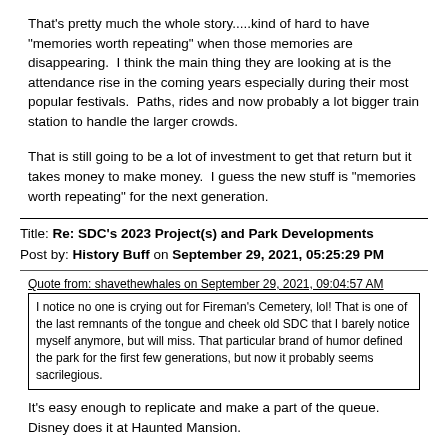That's pretty much the whole story.....kind of hard to have "memories worth repeating" when those memories are disappearing.  I think the main thing they are looking at is the attendance rise in the coming years especially during their most popular festivals.  Paths, rides and now probably a lot bigger train station to handle the larger crowds.
That is still going to be a lot of investment to get that return but it takes money to make money.  I guess the new stuff is "memories worth repeating" for the next generation.
Title: Re: SDC's 2023 Project(s) and Park Developments
Post by: History Buff on September 29, 2021, 05:25:29 PM
Quote from: shavethewhales on September 29, 2021, 09:04:57 AM
I notice no one is crying out for Fireman's Cemetery, lol! That is one of the last remnants of the tongue and cheek old SDC that I barely notice myself anymore, but will miss. That particular brand of humor defined the park for the first few generations, but now it probably seems sacrilegious.
It's easy enough to replicate and make a part of the queue. Disney does it at Haunted Mansion.
Did you ever wonder if there are any real things buried there?
Title: Re: SDC's 2023 Project(s) and Park Developments
Post by: cowboy on September 30, 2021, 10:21:59 AM